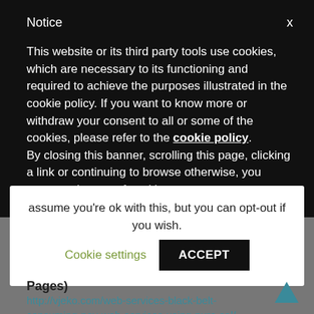Notice
This website or its third party tools use cookies, which are necessary to its functioning and required to achieve the purposes illustrated in the cookie policy. If you want to know more or withdraw your consent to all or some of the cookies, please refer to the cookie policy.
By closing this banner, scrolling this page, clicking a link or continuing to browse otherwise, you agree to the use of cookies.
assume you're ok with this, but you can opt-out if you wish.
Cookie settings
ACCEPT
Pages)
http://vjeko.com/web-services-black-belt-consuming-nav-web-services-using-pure-cal/